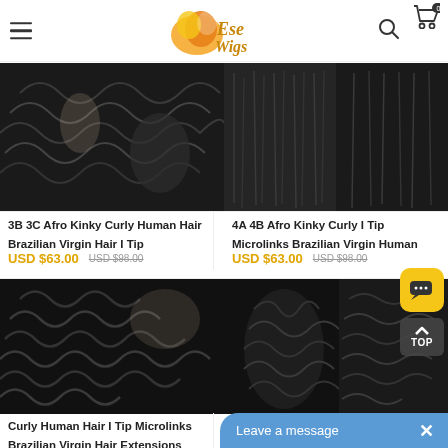EseWigs — hamburger menu, logo, search icon, cart (0)
[Figure (photo): 3B 3C Afro Kinky Curly Human Hair Brazilian Virgin Hair I Tip product photo showing curly black hair bundle]
3B 3C Afro Kinky Curly Human Hair Brazilian Virgin Hair I Tip
USD $63.00  USD $98.00
[Figure (photo): 4A 4B Afro Kinky Curly I Tip Microlinks Brazilian Virgin Human product photo showing kinky curly hair]
4A 4B Afro Kinky Curly I Tip Microlinks Brazilian Virgin Human
USD $63.00  USD $98.00
[Figure (photo): Curly Human Hair I Tip Microlinks Brazilian Virgin Hair Extensions product photo]
Curly Human Hair I Tip Microlinks Brazilian Virgin Hair Extensions
[Figure (photo): 3C product photo showing curly hair bundle and braiding application]
3C Hu...
Leave a message